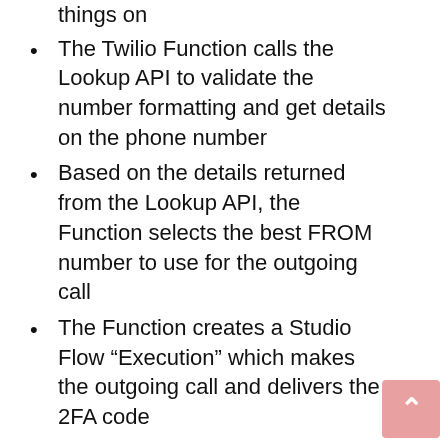things on
The Twilio Function calls the Lookup API to validate the number formatting and get details on the phone number
Based on the details returned from the Lookup API, the Function selects the best FROM number to use for the outgoing call
The Function creates a Studio Flow “Execution” which makes the outgoing call and delivers the 2FA code
Prerequisites
A Twilio Account – Sign up for free today if you don’t yet have an account
Twilio CLI – CLI Quickstart
Twilio Serverless Plugin – Install